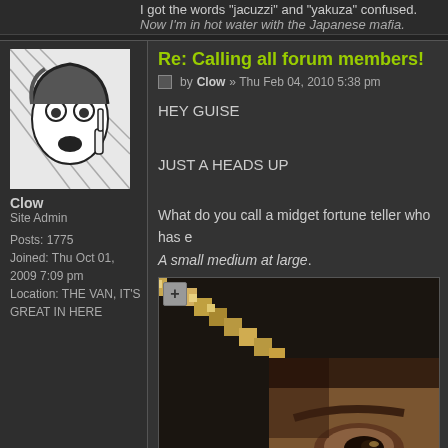I got the words 'jacuzzi' and 'yakuza' confused.
Now I'm in hot water with the Japanese mafia.
Re: Calling all forum members!
by Clow » Thu Feb 04, 2010 5:38 pm
HEY GUISE
JUST A HEADS UP
What do you call a midget fortune teller who has e
A small medium at large.
[Figure (photo): Pixelated image of a person's face, partially cropped, with a sword/blade in the upper left]
http://aserverwith.no-ip.org/img/Pizzer ... 809317.
Clow
Site Admin
Posts: 1775
Joined: Thu Oct 01, 2009 7:09 pm
Location: THE VAN, IT'S GREAT IN HERE
Re: Calling all forum members!
by Nachthymnen » Thu Feb 04, 2010 6:13 pm
Nachthymnen
Site Mod